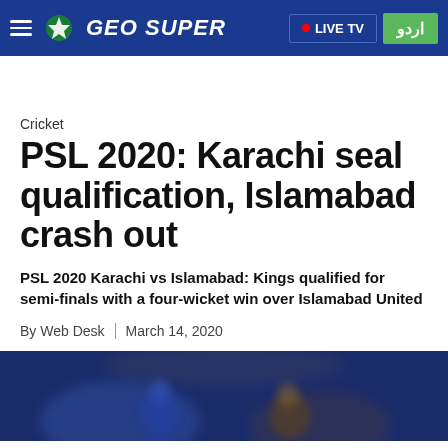GEO SUPER | LIVE TV | اردو
Cricket
PSL 2020: Karachi seal qualification, Islamabad crash out
PSL 2020 Karachi vs Islamabad: Kings qualified for semi-finals with a four-wicket win over Islamabad United
By Web Desk | March 14, 2020
[Figure (photo): Cricket players blurred photo, dark blue/stadium background]